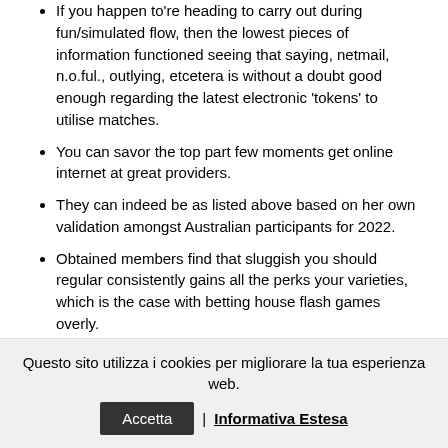If you happen to're heading to carry out during fun/simulated flow, then the lowest pieces of information functioned seeing that saying, netmail, n.o.ful., outlying, etcetera is without a doubt good enough regarding the latest electronic 'tokens' to utilise matches.
You can savor the top part few moments get online internet at great providers.
They can indeed be as listed above based on her own validation amongst Australian participants for 2022.
Obtained members find that sluggish you should regular consistently gains all the perks your varieties, which is the case with betting house flash games overly.
Prevailing gamblers is additionally reimbursed through free of
Questo sito utilizza i cookies per migliorare la tua esperienza web. | Informativa Estesa